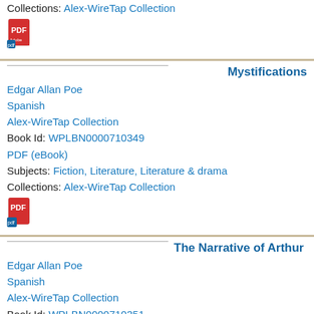Collections: Alex-WireTap Collection
[Figure (illustration): PDF eBook icon (red Adobe PDF icon)]
Mystifications
Edgar Allan Poe
Spanish
Alex-WireTap Collection
Book Id: WPLBN0000710349
PDF (eBook)
Subjects: Fiction, Literature, Literature & drama
Collections: Alex-WireTap Collection
[Figure (illustration): PDF eBook icon (red Adobe PDF icon)]
The Narrative of Arthur Gordon P
Edgar Allan Poe
Spanish
Alex-WireTap Collection
Book Id: WPLBN0000710351
PDF (eBook)
Subjects: Fiction, Literature, Literature & drama
Collections: Alex-WireTap Collection